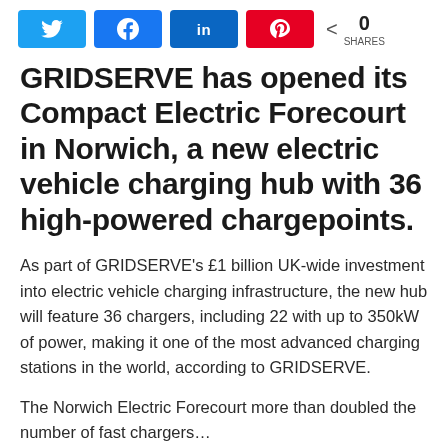[Figure (other): Social media share buttons: Twitter (blue), Facebook (blue), LinkedIn (blue), Pinterest (red), and a share count showing 0 SHARES]
GRIDSERVE has opened its Compact Electric Forecourt in Norwich, a new electric vehicle charging hub with 36 high-powered chargepoints.
As part of GRIDSERVE’s £1 billion UK-wide investment into electric vehicle charging infrastructure, the new hub will feature 36 chargers, including 22 with up to 350kW of power, making it one of the most advanced charging stations in the world, according to GRIDSERVE.
The Norwich Electric Forecourt more than doubled the number of fast chargers...